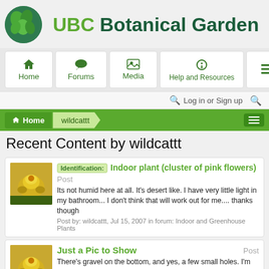[Figure (logo): UBC Botanical Garden logo with circular green leaf emblem and site name]
[Figure (screenshot): Navigation bar with Home, Forums, Media, Help and Resources, and menu icon buttons]
Log in or Sign up
[Figure (screenshot): Breadcrumb navigation showing Home > wildcattt with green background and menu button]
Recent Content by wildcattt
Identification: Indoor plant (cluster of pink flowers)
Its not humid here at all. It's desert like. I have very little light in my bathroom... I don't think that will work out for me.... thanks though
Post by: wildcattt, Jul 15, 2007 in forum: Indoor and Greenhouse Plants
Just a Pic to Show
There's gravel on the bottom, and yes, a few small holes. I'm just careful not too over water it...... Seems happy....
Post by: wildcattt, Jul 15, 2007 in forum: Cacti and Succulents